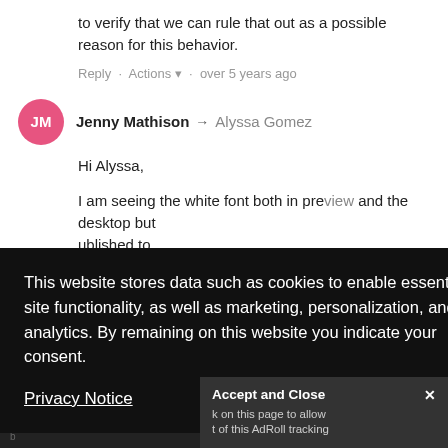to verify that we can rule that out as a possible reason for this behavior.
Reply · Actions ▾ · over 5 years ago
Jenny Mathison → Alyssa Gomez
Hi Alyssa,
I am seeing the white font both in preview and the desktop but ublished to een resolved of what hange from
This website stores data such as cookies to enable essential site functionality, as well as marketing, personalization, and analytics. By remaining on this website you indicate your consent.
Privacy Notice
Accept and Close ✕
k on this page to allow t of this AdRoll tracking